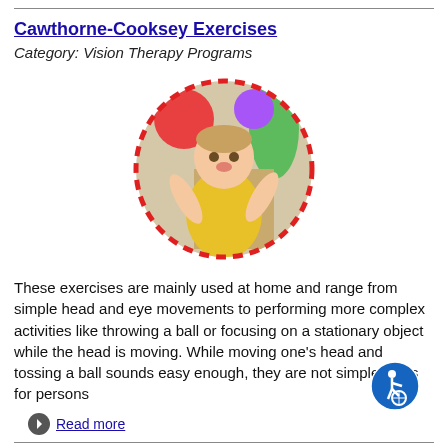Cawthorne-Cooksey Exercises
Category: Vision Therapy Programs
[Figure (photo): A young toddler in a yellow shirt with arms raised, surrounded by a red dashed circle border, in a colorful room.]
These exercises are mainly used at home and range from simple head and eye movements to performing more complex activities like throwing a ball or focusing on a stationary object while the head is moving. While moving one's head and tossing a ball sounds easy enough, they are not simple tasks for persons
Read more
Keep Your Eye on the Ball: How Vision